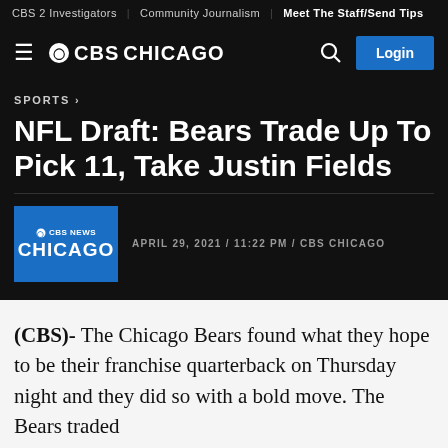CBS 2 Investigators | Community Journalism | Meet The Staff/Send Tips
CBS CHICAGO
SPORTS >
NFL Draft: Bears Trade Up To Pick 11, Take Justin Fields
APRIL 29, 2021 / 11:22 PM / CBS CHICAGO
(CBS)- The Chicago Bears found what they hope to be their franchise quarterback on Thursday night and they did so with a bold move. The Bears traded